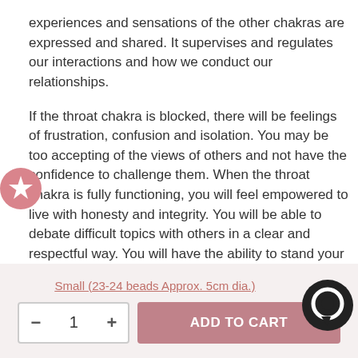experiences and sensations of the other chakras are expressed and shared. It supervises and regulates our interactions and how we conduct our relationships.
If the throat chakra is blocked, there will be feelings of frustration, confusion and isolation. You may be too accepting of the views of others and not have the confidence to challenge them. When the throat chakra is fully functioning, you will feel empowered to live with honesty and integrity. You will be able to debate difficult topics with others in a clear and respectful way. You will have the ability to stand your ground on the things that matter.
Small (23-24 beads Approx. 5cm dia.)
− 1 + ADD TO CART